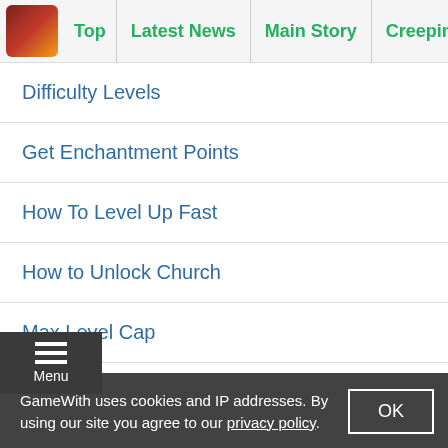Top | Latest News | Main Story | Creeping Winter | J A
Difficulty Levels
Get Enchantment Points
How To Level Up Fast
How to Unlock Church
Max Level Cap
Legendary Item Farming
Max Power Level
Character List
GameWith uses cookies and IP addresses. By using our site you agree to our privacy policy.
OK